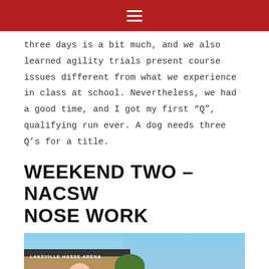three days is a bit much, and we also learned agility trials present course issues different from what we experience in class at school. Nevertheless, we had a good time, and I got my first “Q”, qualifying run ever. A dog needs three Q’s for a title.
WEEKEND TWO – NACSW NOSE WORK
[Figure (photo): Photo of a person in a red shirt crouching with a dog in front of Lakeville Hasse Arena building exterior, with trees and blue sky in the background.]